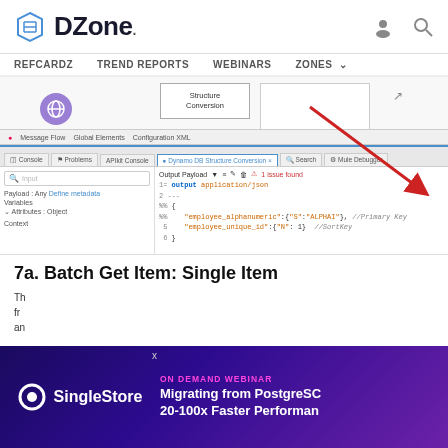DZone. REFCARDZ TREND REPORTS WEBINARS ZONES
[Figure (screenshot): DZone website screenshot showing an IDE panel with Dynamo DB Structure Conversion tab open, displaying JSON output with employee_alphanumeric and employee_unique_id fields, with a red arrow pointing to the output payload area. Above shows a diagram with Structure Conversion box and a globe icon.]
7a. Batch Get Item: Single Item
Th... fr... an...
[Figure (screenshot): SingleStore advertisement banner: ON DEMAND WEBINAR - Migrating from PostgreSQL 20-100x Faster Performance]